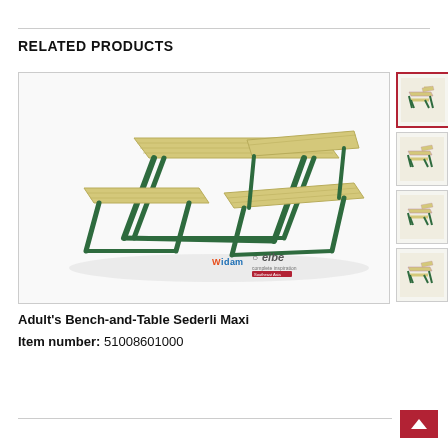RELATED PRODUCTS
[Figure (photo): Adult's Bench-and-Table Sederli Maxi product photo showing a picnic table set with green metal frame and wooden slat tabletop and benches, with back support on one side. Logos for Widam and eibe visible.]
[Figure (photo): Thumbnail 1 (active/selected): Small image of Adult Bench-and-Table set, red border]
[Figure (photo): Thumbnail 2: Small image of Adult Bench-and-Table set]
[Figure (photo): Thumbnail 3: Small image of Adult Bench-and-Table set]
[Figure (photo): Thumbnail 4: Small image of Adult Bench-and-Table set]
Adult's Bench-and-Table Sederli Maxi
Item number: 51008601000